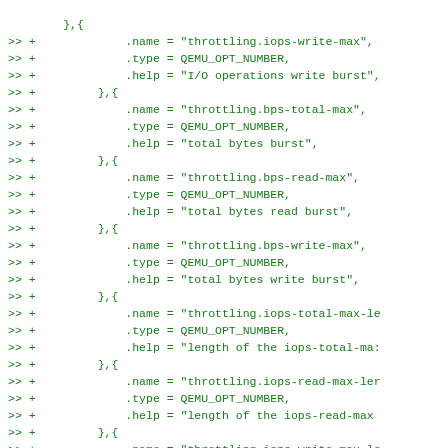code diff showing QEMU throttling options: iops-write-max, bps-total-max, bps-read-max, bps-write-max, iops-total-max-length, iops-read-max-length, iops-write-max-length, bps-total-max-length